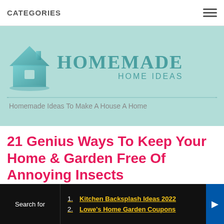CATEGORIES
[Figure (logo): Homemade Home Ideas logo with teal house icon and text 'HOMEMADE HOME IDEAS'. Tagline: Homemade Ideas To Make A House A Home]
21 Genius Ways To Keep Your Home & Garden Free Of Annoying Insects
July 9, 2015 by publisher · Leave a Comment
Search for
1. Kitchen Backsplash Ideas 2022
2. Lowe's Home Garden Coupons